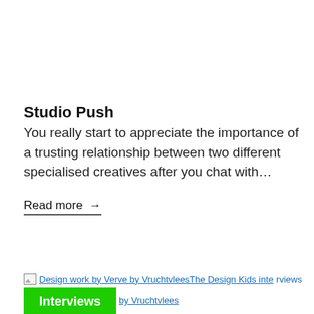Studio Push
You really start to appreciate the importance of a trusting relationship between two different specialised creatives after you chat with…
Read more →
Design work by Verve by VruchtvleesThe Design Kids inte... by Vruchtvlees
Interviews